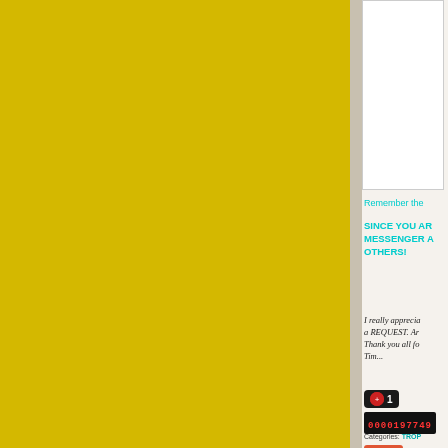[Figure (other): Large yellow/golden colored block occupying the left portion of the page]
[Figure (other): White image/photo placeholder box in the right panel]
Remember the
SINCE YOU AR MESSENGER A OTHERS!
I really apprecia a REQUEST. Ar Thank you all fo Tim...
1
0000197749
Categories: TROP
Share